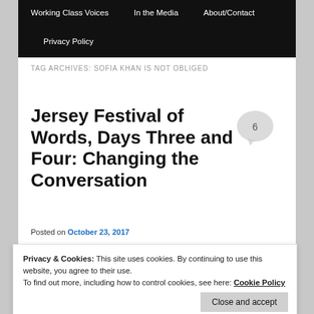Working Class Voices | In the Media | About/Contact | Privacy Policy
TAG ARCHIVES: SOFIA KHAN IS NOT OBLIGED
Jersey Festival of Words, Days Three and Four: Changing the Conversation
Posted on October 23, 2017
Privacy & Cookies: This site uses cookies. By continuing to use this website, you agree to their use. To find out more, including how to control cookies, see here: Cookie Policy